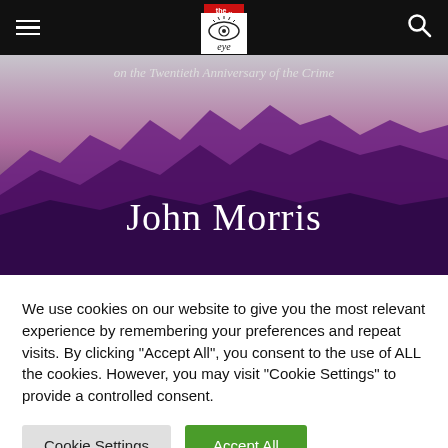Navigation bar with hamburger menu, The Eye logo, and search icon
[Figure (photo): Book cover showing text 'on the Twentieth Anniversary of the Crime' at the top and 'John Morris' in large white serif text at the bottom, over a purple/dark mountainous silhouette background.]
We use cookies on our website to give you the most relevant experience by remembering your preferences and repeat visits. By clicking "Accept All", you consent to the use of ALL the cookies. However, you may visit "Cookie Settings" to provide a controlled consent.
Cookie Settings | Accept All